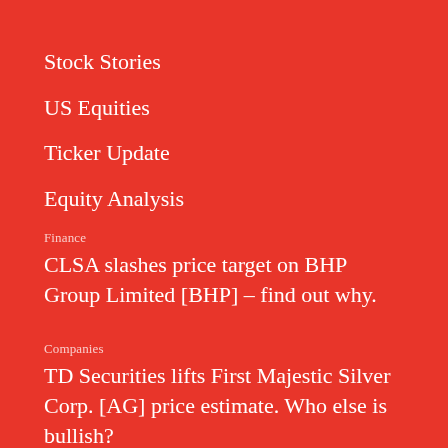Stock Stories
US Equities
Ticker Update
Equity Analysis
Finance
CLSA slashes price target on BHP Group Limited [BHP] – find out why.
Companies
TD Securities lifts First Majestic Silver Corp. [AG] price estimate. Who else is bullish?